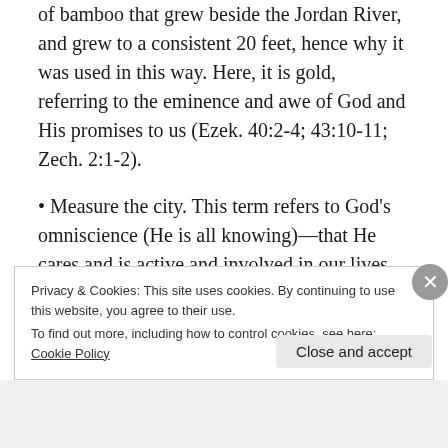of bamboo that grew beside the Jordan River, and grew to a consistent 20 feet, hence why it was used in this way. Here, it is gold, referring to the eminence and awe of God and His promises to us (Ezek. 40:2-4; 43:10-11; Zech. 2:1-2).
• Measure the city. This term refers to God's omniscience (He is all knowing)—that He cares and is active and involved in our lives, both personally and collectively as a Church. This also refers to God's power and ability, and that
Privacy & Cookies: This site uses cookies. By continuing to use this website, you agree to their use.
To find out more, including how to control cookies, see here: Cookie Policy
Close and accept